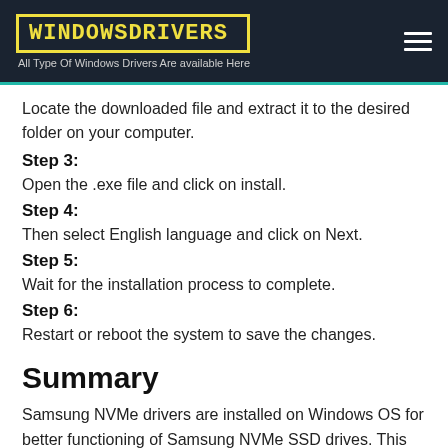WINDOWSDRIVERS - All Type Of Windows Drivers Are available Here
Locate the downloaded file and extract it to the desired folder on your computer.
Step 3: Open the .exe file and click on install.
Step 4: Then select English language and click on Next.
Step 5: Wait for the installation process to complete.
Step 6: Restart or reboot the system to save the changes.
Summary
Samsung NVMe drivers are installed on Windows OS for better functioning of Samsung NVMe SSD drives. This driver software guides your Windows on operating and optimizing the storage